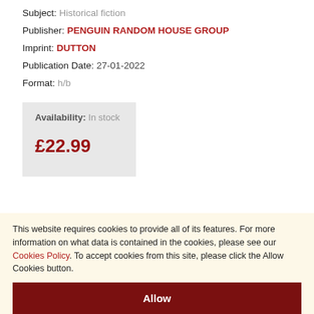Subject: Historical fiction
Publisher: PENGUIN RANDOM HOUSE GROUP
Imprint: DUTTON
Publication Date: 27-01-2022
Format: h/b
Availability: In stock
£22.99
This website requires cookies to provide all of its features. For more information on what data is contained in the cookies, please see our Cookies Policy. To accept cookies from this site, please click the Allow Cookies button.
Allow